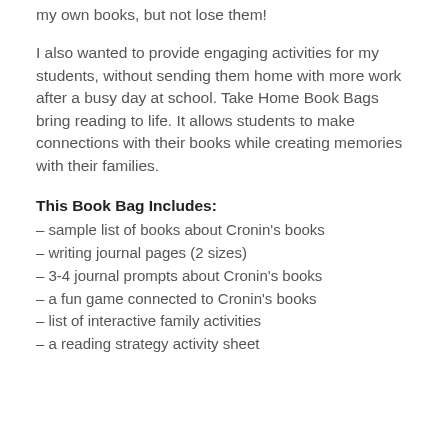my own books, but not lose them!
I also wanted to provide engaging activities for my students, without sending them home with more work after a busy day at school. Take Home Book Bags bring reading to life. It allows students to make connections with their books while creating memories with their families.
This Book Bag Includes:
– sample list of books about Cronin's books
– writing journal pages (2 sizes)
– 3-4 journal prompts about Cronin's books
– a fun game connected to Cronin's books
– list of interactive family activities
– a reading strategy activity sheet